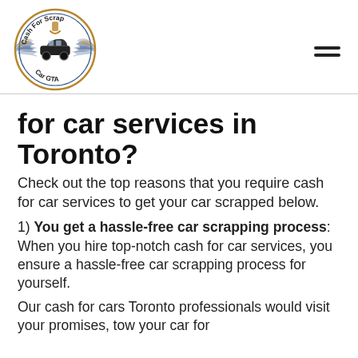[Figure (logo): Cash For Scrap Car GTA logo with circular design, wings, and a car silhouette]
for car services in Toronto?
Check out the top reasons that you require cash for car services to get your car scrapped below.
1) You get a hassle-free car scrapping process: When you hire top-notch cash for car services, you ensure a hassle-free car scrapping process for yourself.
Our cash for cars Toronto professionals would visit your promises, tow your car for